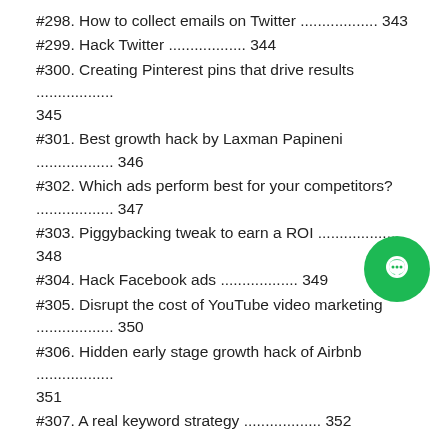#298. How to collect emails on Twitter .................. 343
#299. Hack Twitter .................. 344
#300. Creating Pinterest pins that drive results .................. 345
#301. Best growth hack by Laxman Papineni .................. 346
#302. Which ads perform best for your competitors? .................. 347
#303. Piggybacking tweak to earn a ROI .................. 348
#304. Hack Facebook ads .................. 349
#305. Disrupt the cost of YouTube video marketing .................. 350
#306. Hidden early stage growth hack of Airbnb .................. 351
#307. A real keyword strategy .................. 352
Chapter 4: Growth Hacks To Get More Users To Use Your Product
#308. 95% of CTAs are wrong [epic Wistia analysis]